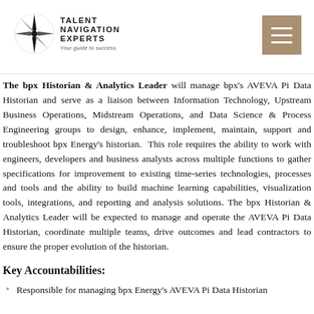Talent Navigation Experts — Your guide to success
The bpx Historian & Analytics Leader will manage bpx's AVEVA Pi Data Historian and serve as a liaison between Information Technology, Upstream Business Operations, Midstream Operations, and Data Science & Process Engineering groups to design, enhance, implement, maintain, support and troubleshoot bpx Energy's historian. This role requires the ability to work with engineers, developers and business analysts across multiple functions to gather specifications for improvement to existing time-series technologies, processes and tools and the ability to build machine learning capabilities, visualization tools, integrations, and reporting and analysis solutions. The bpx Historian & Analytics Leader will be expected to manage and operate the AVEVA Pi Data Historian, coordinate multiple teams, drive outcomes and lead contractors to ensure the proper evolution of the historian.
Key Accountabilities:
Responsible for managing bpx Energy's AVEVA Pi Data Historian